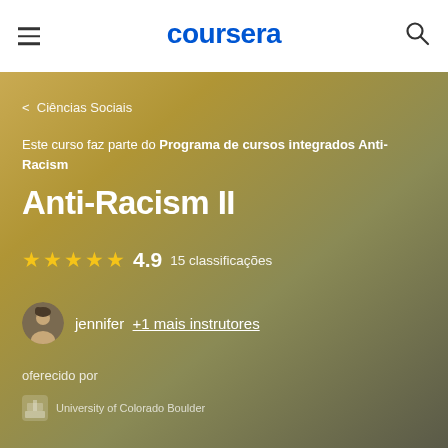coursera
< Ciências Sociais
Este curso faz parte do Programa de cursos integrados Anti-Racism
Anti-Racism II
4.9  15 classificações
jennifer  +1 mais instrutores
oferecido por
University of Colorado Boulder